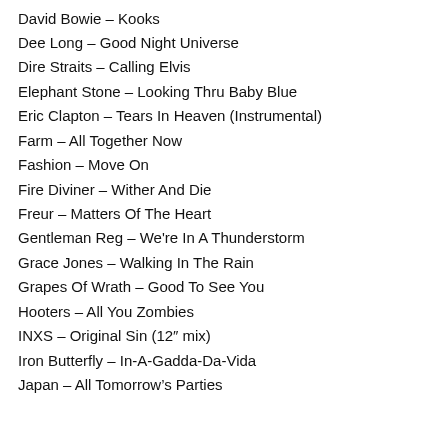David Bowie – Kooks
Dee Long – Good Night Universe
Dire Straits – Calling Elvis
Elephant Stone – Looking Thru Baby Blue
Eric Clapton – Tears In Heaven (Instrumental)
Farm – All Together Now
Fashion – Move On
Fire Diviner – Wither And Die
Freur – Matters Of The Heart
Gentleman Reg – We're In A Thunderstorm
Grace Jones – Walking In The Rain
Grapes Of Wrath – Good To See You
Hooters – All You Zombies
INXS – Original Sin (12″ mix)
Iron Butterfly – In-A-Gadda-Da-Vida
Japan – All Tomorrow's Parties